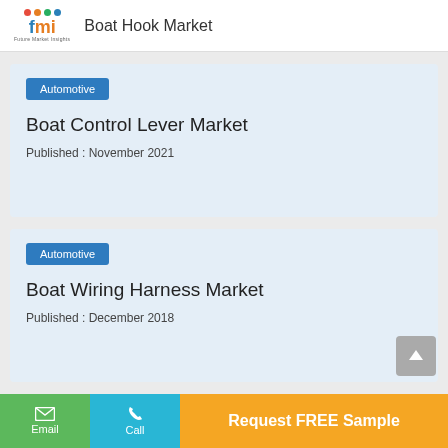Boat Hook Market
Automotive
Boat Control Lever Market
Published : November 2021
Automotive
Boat Wiring Harness Market
Published : December 2018
Email | Call | Request FREE Sample